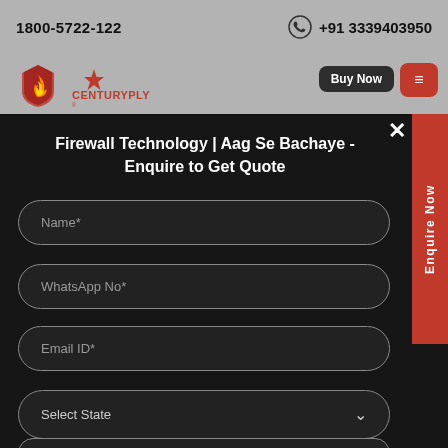1800-5722-122   +91 3339403950
[Figure (logo): CenturyPly flame shield logo and CENTURYPLY red text logo]
Buy Now
≡
Firewall Technology | Aag Se Bachaye - Enquire to Get Quote
Name*
WhatsApp No*
Email ID*
Select State
Enquire Now